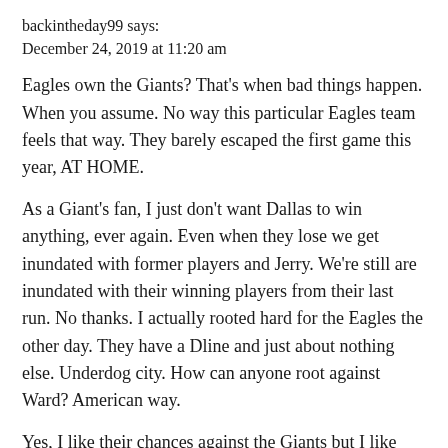backintheday99 says:
December 24, 2019 at 11:20 am
Eagles own the Giants? That's when bad things happen. When you assume. No way this particular Eagles team feels that way. They barely escaped the first game this year, AT HOME.
As a Giant's fan, I just don't want Dallas to win anything, ever again. Even when they lose we get inundated with former players and Jerry. We're still are inundated with their winning players from their last run. No thanks. I actually rooted hard for the Eagles the other day. They have a Dline and just about nothing else. Underdog city. How can anyone root against Ward? American way.
Yes, I like their chances against the Giants but I like Oakland's 9 way parlay too. Watch Oakland lose and the other 8 hit. Wouldn't surprise me. Neither would a Giant's win. They're poorly coached, the Eagles are not. But on any give Sunday…
👍 76  📋 8  ℹ Rate This